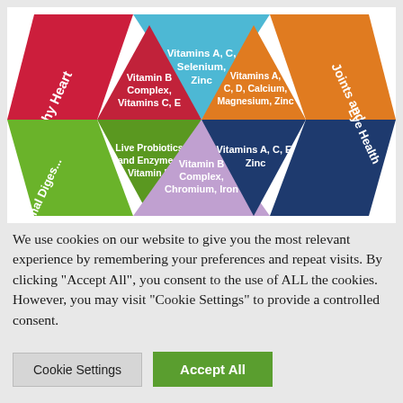[Figure (infographic): Hexagonal infographic showing health benefit segments: Healthy Heart (red, Vitamin B Complex, Vitamins C, E), top center (light blue, Vitamins A, C, Selenium, Zinc), Joints and Bones (orange, Vitamins A, C, D, Calcium, Magnesium, Zinc), Optimal Digestion (green, Live Probiotics and Enzymes, Vitamin D), bottom center (lavender, Vitamin B Complex, Chromium, Iron), Eye Health (dark blue, Vitamins A, C, E, Zinc)]
We use cookies on our website to give you the most relevant experience by remembering your preferences and repeat visits. By clicking "Accept All", you consent to the use of ALL the cookies. However, you may visit "Cookie Settings" to provide a controlled consent.
Cookie Settings    Accept All